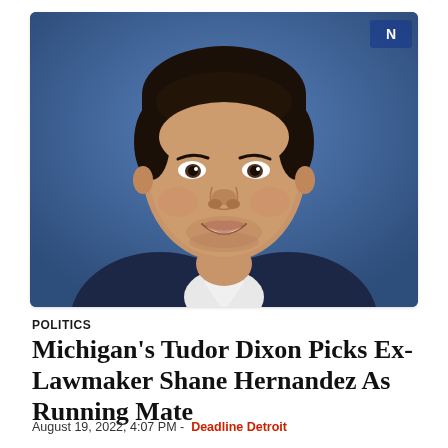[Figure (photo): Headshot of a smiling man in a dark suit and white dress shirt against a blue background. The man has dark hair and is photographed from the chest up in a professional portrait style.]
POLITICS
Michigan's Tudor Dixon Picks Ex-Lawmaker Shane Hernandez As Running Mate
August 19, 2022, 4:07 PM -  Deadline Detroit